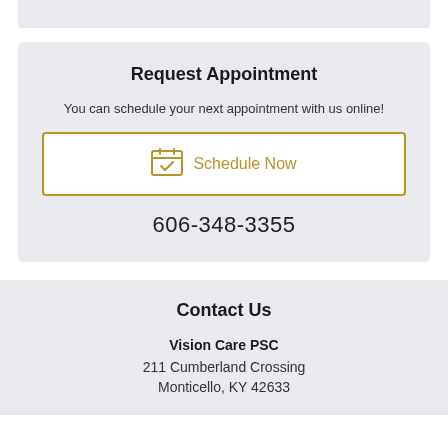Request Appointment
You can schedule your next appointment with us online!
[Figure (illustration): Calendar icon with checkmark, golden/yellow colored]
Schedule Now
606-348-3355
Contact Us
Vision Care PSC
211 Cumberland Crossing
Monticello, KY 42633